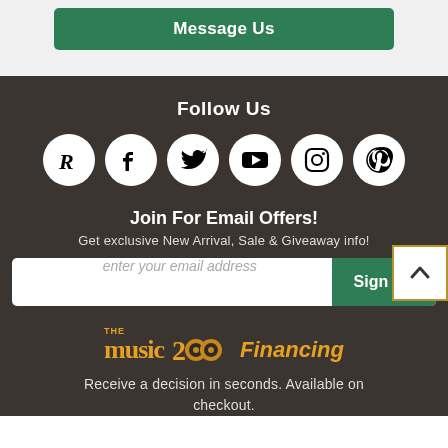Message Us
Follow Us
[Figure (infographic): Six social media icons in white circles: Reverb, Facebook, Twitter, YouTube, Instagram, Pinterest]
Join For Email Offers!
Get exclusive New Arrival, Sale & Giveaway info!
enter your email address
Sign Up
[Figure (logo): The Music Zoo logo with Financing text]
Receive a decision in seconds. Available on checkout.